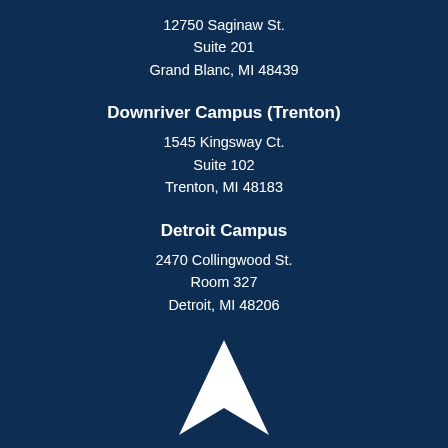12750 Saginaw St.
Suite 201
Grand Blanc, MI 48439
Downriver Campus (Trenton)
1545 Kingsway Ct.
Suite 102
Trenton, MI 48183
Detroit Campus
2470 Collingwood St.
Room 327
Detroit, MI 48206
[Figure (logo): White upward-pointing arrow/chevron logo at the bottom of the page]